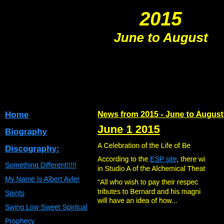2015
June to August
Home
Biography
Discography:
Something Different!!!!!
My Name Is Albert Ayler
Spirits
Swing Low Sweet Spiritual
Prophecy
Spiritual Unity
New York Eye And Ear Control
News from 2015 - June to August
June 1  2015
A Celebration of the Life of Be...
According to the ESP site, there wi... in Studio A of the Alchemical Theat...
“All who wish to pay their respec... tributes to Bernard and his magni... will have an idea of how...